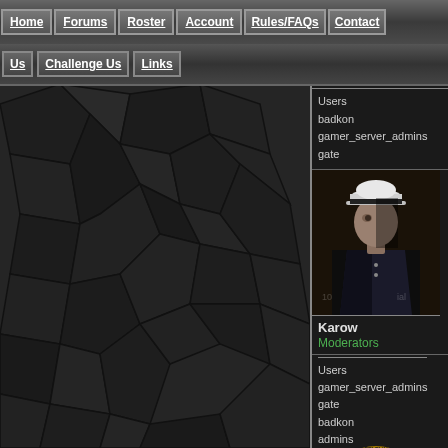Home | Forums | Roster | Account | Rules/FAQs | Contact
Us | Challenge Us | Links
[Figure (screenshot): Dark cracked stone texture background filling left portion of page]
Users
badkon
gamer_server_admins
gate
[Figure (photo): Avatar of a military marine figure in dress uniform with white cap]
Karow
Moderators
Users
gamer_server_admins
gate
badkon
admins
Officers
BK Members
[Figure (logo): USS Peleliu LHA-5 Pax Per Potens shield emblem with V shape and stars]